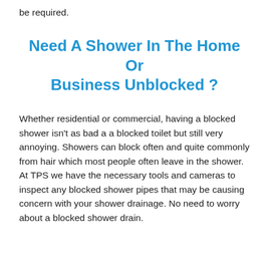be required.
Need A Shower In The Home Or Business Unblocked ?
Whether residential or commercial, having a blocked shower isn't as bad a a blocked toilet but still very annoying. Showers can block often and quite commonly from hair which most people often leave in the shower. At TPS we have the necessary tools and cameras to inspect any blocked shower pipes that may be causing concern with your shower drainage. No need to worry about a blocked shower drain.